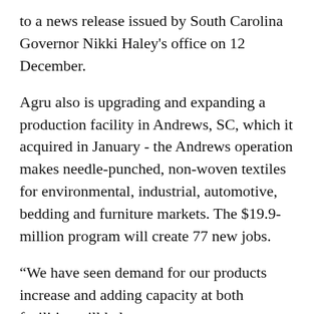to a news release issued by South Carolina Governor Nikki Haley's office on 12 December.
Agru also is upgrading and expanding a production facility in Andrews, SC, which it acquired in January - the Andrews operation makes needle-punched, non-woven textiles for environmental, industrial, automotive, bedding and furniture markets. The $19.9-million program will create 77 new jobs.
“We have seen demand for our products increase and adding capacity at both facilities will help us meet our manufacturing goals,” said Agru America President Robert Johnson in a news release.
Agru has also been expanding its Fernley, Nevada plant by adding co-extrusion capacity to meet